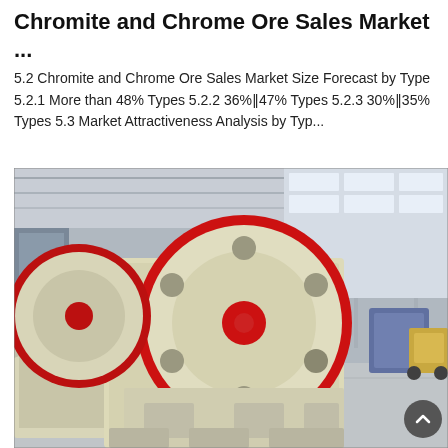Chromite and Chrome Ore Sales Market ...
5.2 Chromite and Chrome Ore Sales Market Size Forecast by Type 5.2.1 More than 48% Types 5.2.2 36%‖47% Types 5.2.3 30%‖35% Types 5.3 Market Attractiveness Analysis by Typ...
[Figure (photo): Industrial jaw crusher machine with large red-rimmed flywheel, cream/beige colored body, inside a large industrial warehouse/factory with steel roof structure. The crusher is a heavy mining equipment piece photographed from the front-side angle.]